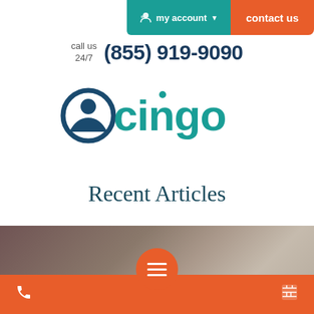my account | contact us
call us 24/7  (855) 919-9090
[Figure (logo): Cingo logo: a teal circular icon with a person silhouette inside, followed by the word 'cingo' in teal text]
Recent Articles
[Figure (photo): A grayscale/muted photo of what appears to be HVAC ductwork or pipes in an industrial or residential utility space]
Phone icon | Hamburger menu button | Calendar/schedule icon